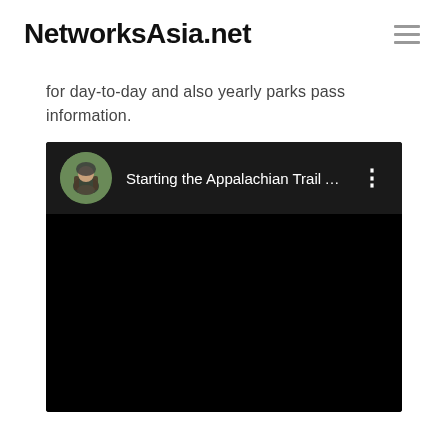NetworksAsia.net
for day-to-day and also yearly parks pass information.
[Figure (screenshot): YouTube video embed showing 'Starting the Appalachian Trail ALO...' with a circular avatar of a hiker with a backpack, a three-dot menu icon, and a black video player area below.]